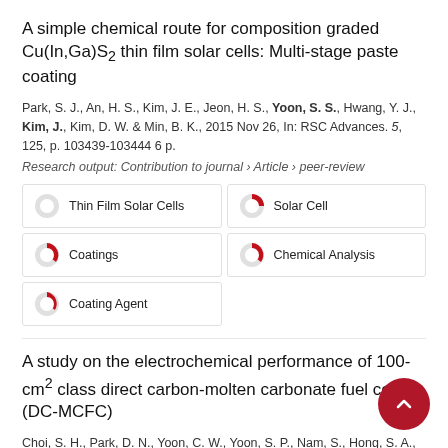A simple chemical route for composition graded Cu(In,Ga)S₂ thin film solar cells: Multi-stage paste coating
Park, S. J., An, H. S., Kim, J. E., Jeon, H. S., Yoon, S. S., Hwang, Y. J., Kim, J., Kim, D. W. & Min, B. K., 2015 Nov 26, In: RSC Advances. 5, 125, p. 103439-103444 6 p.
Research output: Contribution to journal › Article › peer-review
Thin Film Solar Cells
Solar Cell
Coatings
Chemical Analysis
Coating Agent
A study on the electrochemical performance of 100-cm² class direct carbon-molten carbonate fuel cell (DC-MCFC)
Choi, S. H., Park, D. N., Yoon, C. W., Yoon, S. P., Nam, S., Hong, S. A., Shul, Y. G., Ham, H. C. & Han, J., 2015 Apr 27, In: